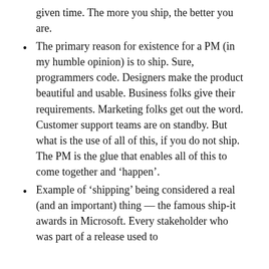given time. The more you ship, the better you are.
The primary reason for existence for a PM (in my humble opinion) is to ship. Sure, programmers code. Designers make the product beautiful and usable. Business folks give their requirements. Marketing folks get out the word. Customer support teams are on standby. But what is the use of all of this, if you do not ship. The PM is the glue that enables all of this to come together and ‘happen’.
Example of ‘shipping’ being considered a real (and an important) thing — the famous ship-it awards in Microsoft. Every stakeholder who was part of a release used to